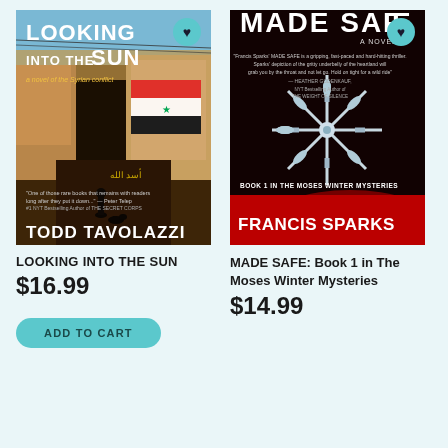[Figure (illustration): Book cover for 'Looking Into The Sun' by Todd Tavolazzi — shows a war-torn Syrian street scene with destroyed buildings, Arabic text on walls, a lone figure with a dog, and a Syrian flag. Large white grunge title text at top, author name at bottom.]
[Figure (illustration): Book cover for 'Made Safe: Book 1 in The Moses Winter Mysteries' by Francis Sparks — black and red background with a large silver snowflake/star ornament in center, red splatter at bottom, subtitle text along bottom edge, author name in white on red bar.]
LOOKING INTO THE SUN
$16.99
ADD TO CART
MADE SAFE: Book 1 in The Moses Winter Mysteries
$14.99